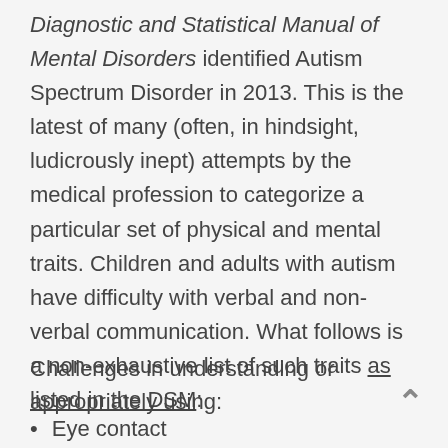Diagnostic and Statistical Manual of Mental Disorders identified Autism Spectrum Disorder in 2013. This is the latest of many (often, in hindsight, ludicrously inept) attempts by the medical profession to categorize a particular set of physical and mental traits. Children and adults with autism have difficulty with verbal and non-verbal communication. What follows is a non-exhaustive list of such traits as listed in the DSM:
Challenges in understanding or appropriately using:
Eye contact